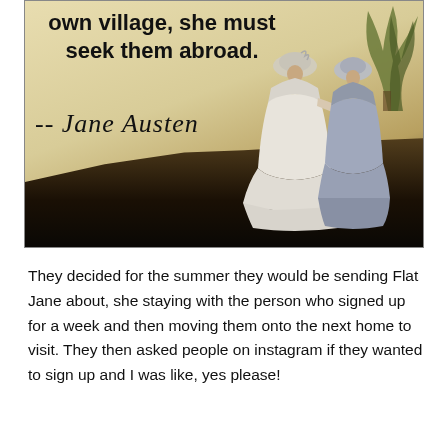[Figure (illustration): A painting-style illustration showing two women in Regency-era white dresses seen from behind, walking through a landscape with dark ground and trees. Overlaid text reads: 'own village, she must seek them abroad.' with the signature '-- Jane Austen' in cursive script.]
They decided for the summer they would be sending Flat Jane about, she staying with the person who signed up for a week and then moving them onto the next home to visit. They then asked people on instagram if they wanted to sign up and I was like, yes please!